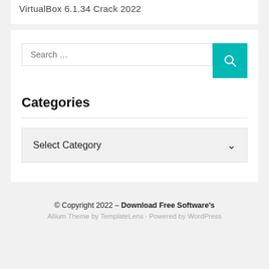VirtualBox 6.1.34 Crack 2022
Categories
Select Category
© Copyright 2022 – Download Free Software's
Allium Theme by TemplateLens · Powered by WordPress